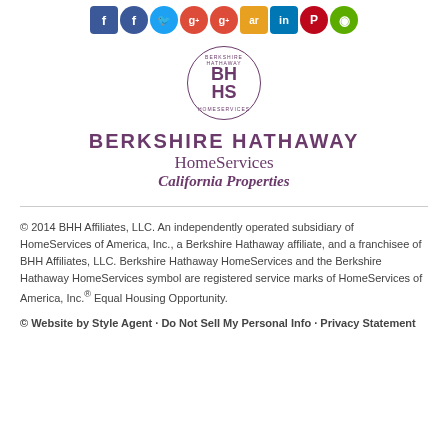[Figure (infographic): Row of social media icon buttons: Facebook (square), Facebook (round), Twitter, Google+ (round), Google+ (round), ActiveRain, LinkedIn, Pinterest, Green location pin icon]
[Figure (logo): Berkshire Hathaway HomeServices circular seal logo with BH HS monogram]
BERKSHIRE HATHAWAY HomeServices California Properties
© 2014 BHH Affiliates, LLC. An independently operated subsidiary of HomeServices of America, Inc., a Berkshire Hathaway affiliate, and a franchisee of BHH Affiliates, LLC. Berkshire Hathaway HomeServices and the Berkshire Hathaway HomeServices symbol are registered service marks of HomeServices of America, Inc.® Equal Housing Opportunity.
© Website by Style Agent · Do Not Sell My Personal Info · Privacy Statement